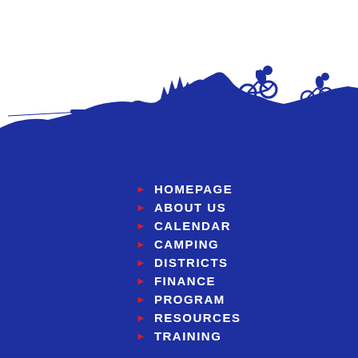[Figure (illustration): Blue silhouette illustration of outdoor adventure scene: a zip-line user on the left, pine tree landscape in the middle, and two mountain bikers on hills to the right, all against a white sky background fading into a dark blue ground.]
HOMEPAGE
ABOUT US
CALENDAR
CAMPING
DISTRICTS
FINANCE
PROGRAM
RESOURCES
TRAINING